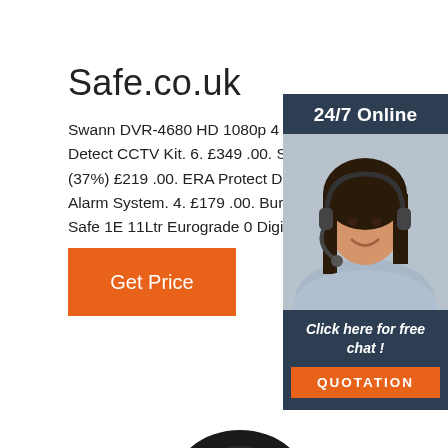Safe.co.uk
Swann DVR-4680 HD 1080p 4 Camera Tr Detect CCTV Kit. 6. £349 .00. SAVE £130 (37%) £219 .00. ERA Protect Deter Plus S Alarm System. 4. £179 .00. Burton LFS Ho Safe 1E 11Ltr Eurograde 0 Digital Safe.
[Figure (other): Orange 'Get Price' button]
[Figure (other): Sidebar panel with '24/7 Online' text, photo of a woman wearing a headset, 'Click here for free chat!' text, and orange QUOTATION button]
[Figure (photo): Partial circular object (camera lens) visible at bottom center of page]